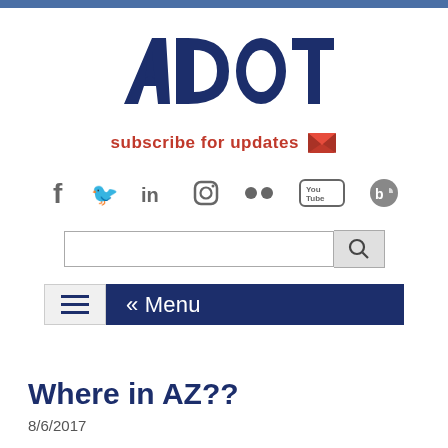[Figure (logo): ADOT logo in dark navy blue, large bold italic text]
subscribe for updates 📧
[Figure (infographic): Social media icons row: Facebook, Twitter, LinkedIn, Instagram, Flickr, YouTube, Blog]
[Figure (screenshot): Search bar with text input and magnifying glass search button]
[Figure (screenshot): Hamburger menu button and navy Menu bar with « Menu text]
Where in AZ??
8/6/2017